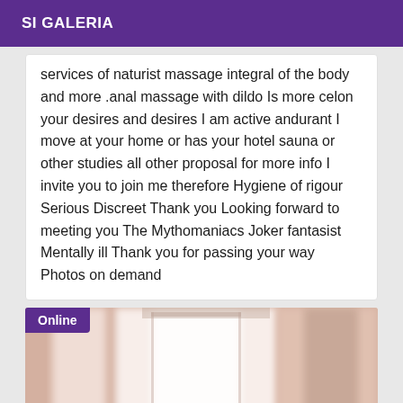SI GALERIA
services of naturist massage integral of the body and more .anal massage with dildo Is more celon your desires and desires I am active andurant I move at your home or has your hotel sauna or other studies all other proposal for more info I invite you to join me therefore Hygiene of rigour Serious Discreet Thank you Looking forward to meeting you The Mythomaniacs Joker fantasist Mentally ill Thank you for passing your way Photos on demand
[Figure (photo): Blurred indoor photo showing curtains or a shower curtain with a person partially visible, with an Online badge overlay in the top-left corner. Watermark text visible at bottom.]